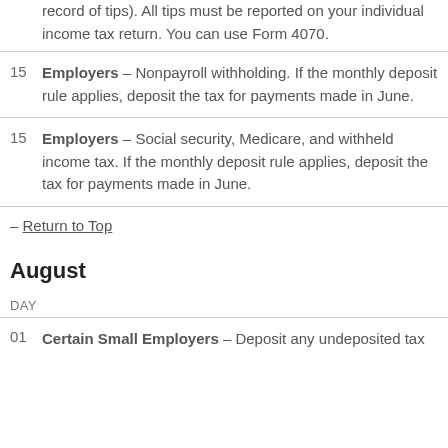record of tips). All tips must be reported on your individual income tax return. You can use Form 4070.
15   Employers – Nonpayroll withholding. If the monthly deposit rule applies, deposit the tax for payments made in June.
15   Employers – Social security, Medicare, and withheld income tax. If the monthly deposit rule applies, deposit the tax for payments made in June.
– Return to Top
August
DAY
01   Certain Small Employers – Deposit any undeposited tax